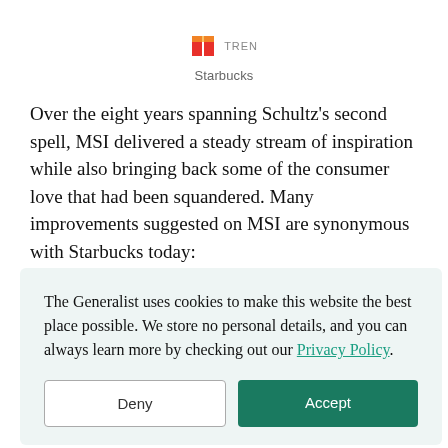Starbucks
Over the eight years spanning Schultz’s second spell, MSI delivered a steady stream of inspiration while also bringing back some of the consumer love that had been squandered. Many improvements suggested on MSI are synonymous with Starbucks today:
The Generalist uses cookies to make this website the best place possible. We store no personal details, and you can always learn more by checking out our Privacy Policy.
Offering sugar-free syrups.